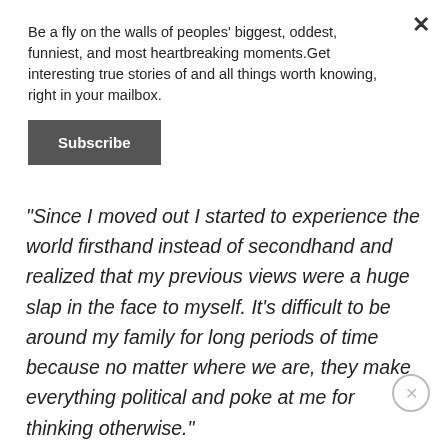Be a fly on the walls of peoples' biggest, oddest, funniest, and most heartbreaking moments.Get interesting true stories of and all things worth knowing, right in your mailbox.
Subscribe
"Since I moved out I started to experience the world firsthand instead of secondhand and realized that my previous views were a huge slap in the face to myself. It’s difficult to be around my family for long periods of time because no matter where we are, they make everything political and poke at me for thinking otherwise."
"Feel free to believe anything you want, but I